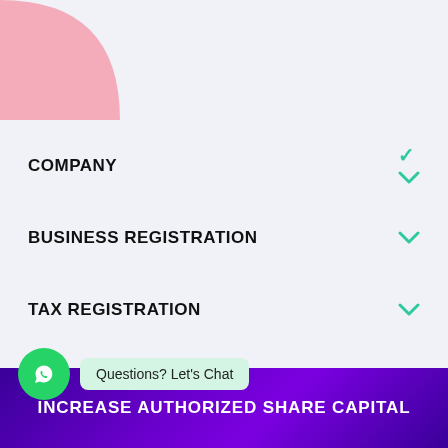[Figure (illustration): Pink quarter-circle decoration in top-left corner]
COMPANY
BUSINESS REGISTRATION
TAX REGISTRATION
COMPLIANCES
[Figure (illustration): WhatsApp chat button (green circle with WhatsApp icon) with a chat bubble saying 'Questions? Let's Chat']
INCREASE AUTHORIZED SHARE CAPITAL